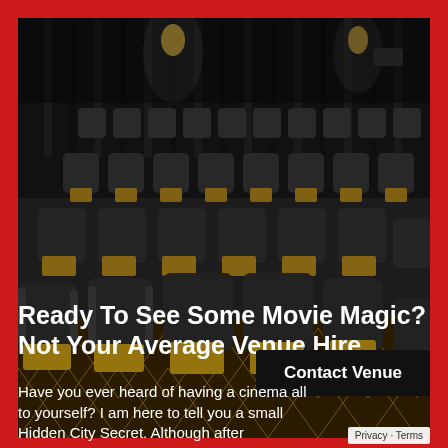[Figure (photo): Interior of a luxury cinema hall with rows of black leather recliner seats with wooden side tables, dark curtains on the walls, and a patterned carpet with gold geometric designs. Spotlights illuminate the space.]
Ready To See Some Movie Magic? Not Your Average Venue Hire
Contact Venue
Have you ever heard of having a cinema all to yourself? I am here to tell you a small Hidden City Secret. Although after